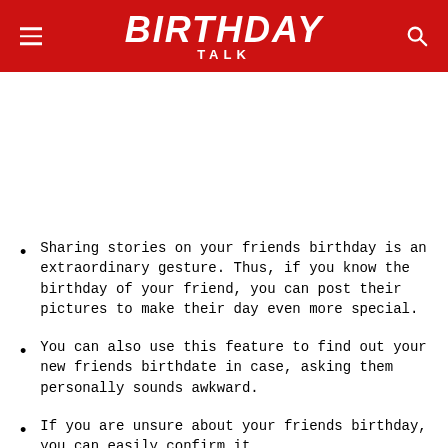BIRTHDAY TALK
Sharing stories on your friends birthday is an extraordinary gesture. Thus, if you know the birthday of your friend, you can post their pictures to make their day even more special.
You can also use this feature to find out your new friends birthdate in case, asking them personally sounds awkward.
If you are unsure about your friends birthday, you can easily confirm it